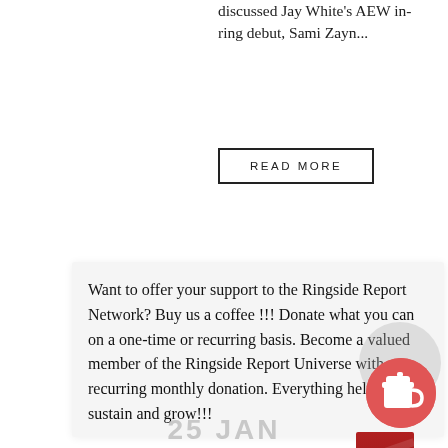discussed Jay White's AEW in-ring debut, Sami Zayn...
READ MORE
Want to offer your support to the Ringside Report Network? Buy us a coffee !!! Donate what you can on a one-time or recurring basis. Become a valued member of the Ringside Report Universe with a recurring monthly donation. Everything helps us sustain and grow!!!
[Figure (photo): Vertical strip photo of wrestling action with red and yellow colors]
[Figure (illustration): Red circular coffee cup icon on salmon/red background]
25 JAN